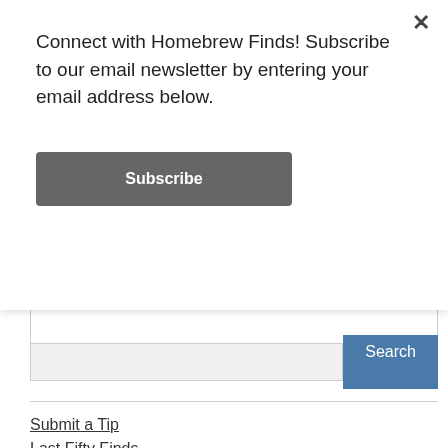Connect with Homebrew Finds! Subscribe to our email newsletter by entering your email address below.
Subscribe
Search
Submit a Tip
Last Fifty Finds
Keg Deals
Hop Deals
Most Popular Amazon Items
Top Homebrew Deals